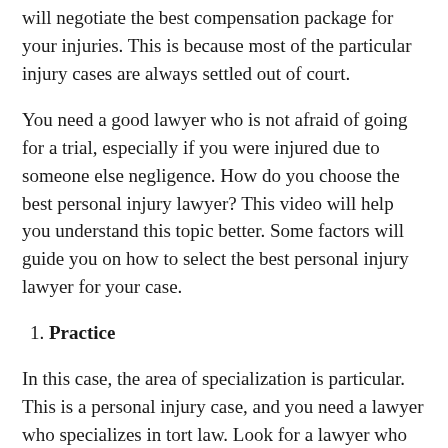will negotiate the best compensation package for your injuries. This is because most of the particular injury cases are always settled out of court.
You need a good lawyer who is not afraid of going for a trial, especially if you were injured due to someone else negligence. How do you choose the best personal injury lawyer? This video will help you understand this topic better. Some factors will guide you on how to select the best personal injury lawyer for your case.
1. Practice
In this case, the area of specialization is particular. This is a personal injury case, and you need a lawyer who specializes in tort law. Look for a lawyer who has the trial experience in tort law. A lawyer who understands the processes associated with cases